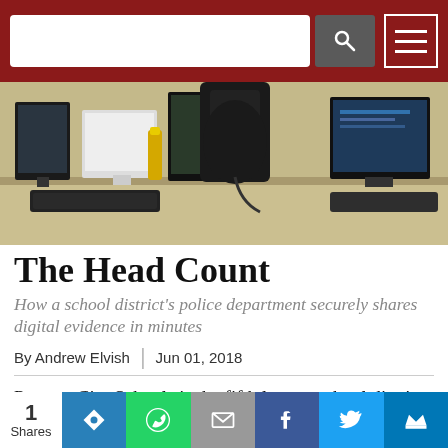[Search bar and navigation menu]
[Figure (photo): Office desk with keyboards, monitors, office chair, hand sanitizer bottle, and computer equipment on a beige desk]
The Head Count
How a school district's police department securely shares digital evidence in minutes
By Andrew Elvish | Jun 01, 2018
Putnam City Schools is the fifth largest school district in Oklahoma. The district serves more than 20,000 students and employees 2,500 staff in three cities:
1 Shares [Social share buttons: Kite, WhatsApp, Email, Facebook, Twitter, Crown]